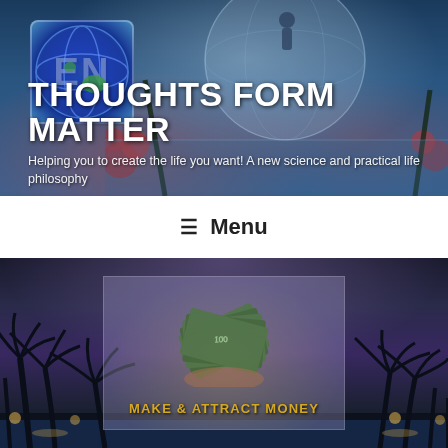[Figure (screenshot): Website header with background image of a person standing before a large glowing globe over water, with tropical plants. Contains a blue globe logo with EN text, site title THOUGHTS FORM MATTER, and tagline.]
THOUGHTS FORM MATTER
Helping you to create the life you want! A new science and practical life philosophy
☰ Menu
[Figure (photo): Tropical resort at night with palm tree silhouettes and purple-blue sky. In the center, a semi-transparent card overlay shows a person holding a fan of $100 bills. Text reads MAKE & ATTRACT MONEY.]